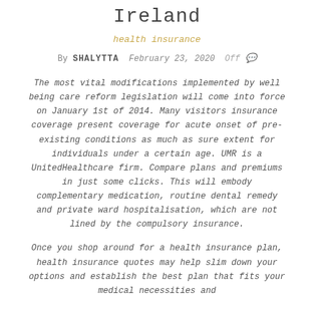Ireland
health insurance
By SHALYTTA  February 23, 2020  Off
The most vital modifications implemented by well being care reform legislation will come into force on January 1st of 2014. Many visitors insurance coverage present coverage for acute onset of pre-existing conditions as much as sure extent for individuals under a certain age. UMR is a UnitedHealthcare firm. Compare plans and premiums in just some clicks. This will embody complementary medication, routine dental remedy and private ward hospitalisation, which are not lined by the compulsory insurance.
Once you shop around for a health insurance plan, health insurance quotes may help slim down your options and establish the best plan that fits your medical necessities and